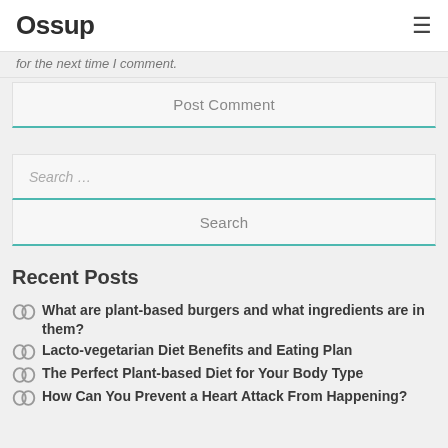Ossup ≡
for the next time I comment.
Post Comment
Search …
Search
Recent Posts
What are plant-based burgers and what ingredients are in them?
Lacto-vegetarian Diet Benefits and Eating Plan
The Perfect Plant-based Diet for Your Body Type
How Can You Prevent a Heart Attack From Happening?